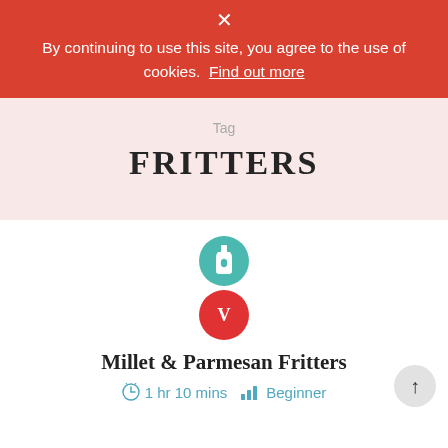By continuing to use this site, you agree to the use of cookies.  Find out more
Tag
FRITTERS
[Figure (illustration): Teal circle icon with a milk bottle silhouette, and below it a red circle icon with letter V]
Millet & Parmesan Fritters
1 hr 10 mins   Beginner